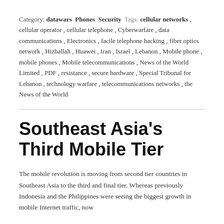Category: datawars Phones Security Tags: cellular networks , cellular operator , cellular telephone , Cyberwarfare , data communications , Electronics , facile telephone hacking , fiber optics network , Hizballah , Huawei , Iran , Israel , Lebanon , Mobile phone , mobile phones , Mobile telecommunications , News of the World Limited , PDF , resistance , secure hardware , Special Tribunal for Lebanon , technology warfare , telecommunications networks , the News of the World
Southeast Asia's Third Mobile Tier
The mobile revolution is moving from second tier countries in Southeast Asia to the third and final tier. Whereas previously Indonesia and the Philippines were seeing the biggest growth in mobile Internet traffic, now